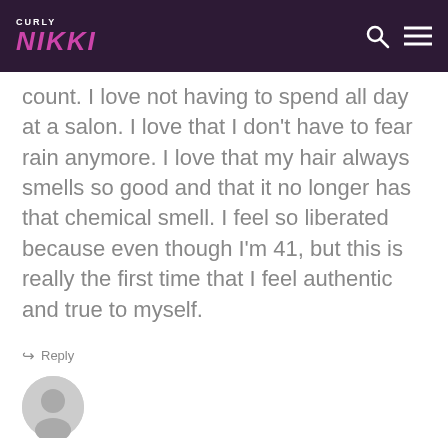CURLY NIKKI
count. I love not having to spend all day at a salon. I love that I don't have to fear rain anymore. I love that my hair always smells so good and that it no longer has that chemical smell. I feel so liberated because even though I'm 41, but this is really the first time that I feel authentic and true to myself.
Reply
[Figure (illustration): User avatar circle icon at bottom left]